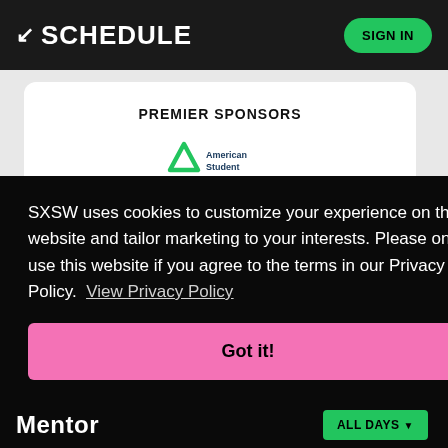↙ SCHEDULE   SIGN IN
PREMIER SPONSORS
[Figure (logo): American Student logo with green triangle/chevron icon]
SXSW uses cookies to customize your experience on the website and tailor marketing to your interests. Please only use this website if you agree to the terms in our Privacy Policy.  View Privacy Policy
Got it!
Mentor   ALL DAYS ▼